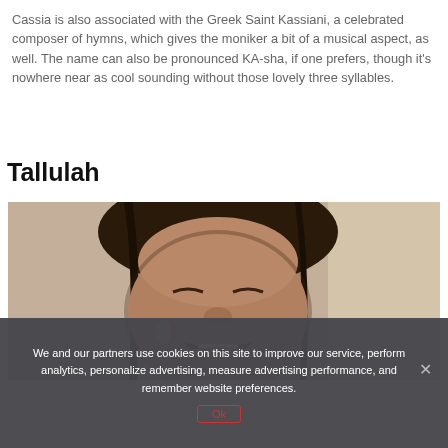Cassia is also associated with the Greek Saint Kassiani, a celebrated composer of hymns, which gives the moniker a bit of a musical aspect, as well. The name can also be pronounced KA-sha, if one prefers, though it's nowhere near as cool sounding without those lovely three syllables.
Tallulah
[Figure (photo): A young child with wet curly hair, mouth open crying or yelling, close-up face shot]
We and our partners use cookies on this site to improve our service, perform analytics, personalize advertising, measure advertising performance, and remember website preferences.
Ok